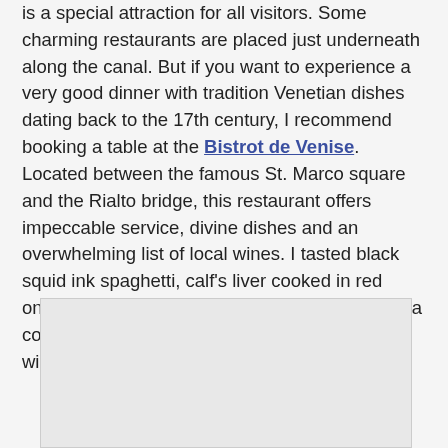is a special attraction for all visitors. Some charming restaurants are placed just underneath along the canal. But if you want to experience a very good dinner with tradition Venetian dishes dating back to the 17th century, I recommend booking a table at the Bistrot de Venise. Located between the famous St. Marco square and the Rialto bridge, this restaurant offers impeccable service, divine dishes and an overwhelming list of local wines. I tasted black squid ink spaghetti, calf’s liver cooked in red onions with polenta and an orange flavored pana cotta all topped with an excellent bottle of red wine from the Veneto region. Delicious!
[Figure (photo): A photograph or image placeholder partially visible at the bottom of the page]